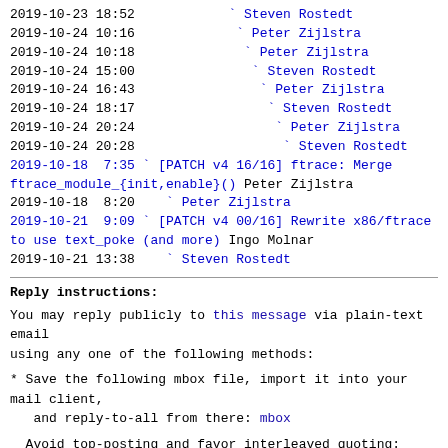2019-10-23 18:52    ` Steven Rostedt
2019-10-24 10:16     ` Peter Zijlstra
2019-10-24 10:18      ` Peter Zijlstra
2019-10-24 15:00       ` Steven Rostedt
2019-10-24 16:43        ` Peter Zijlstra
2019-10-24 18:17         ` Steven Rostedt
2019-10-24 20:24          ` Peter Zijlstra
2019-10-24 20:28           ` Steven Rostedt
2019-10-18  7:35 ` [PATCH v4 16/16] ftrace: Merge ftrace_module_{init,enable}() Peter Zijlstra
2019-10-18  8:20   ` Peter Zijlstra
2019-10-21  9:09 ` [PATCH v4 00/16] Rewrite x86/ftrace to use text_poke (and more) Ingo Molnar
2019-10-21 13:38   ` Steven Rostedt
Reply instructions:
You may reply publicly to this message via plain-text email
using any one of the following methods:
* Save the following mbox file, import it into your mail client,
   and reply-to-all from there: mbox
Avoid top-posting and favor interleaved quoting:
https://en.wikipedia.org/wiki/Posting_style#Interleaved_s